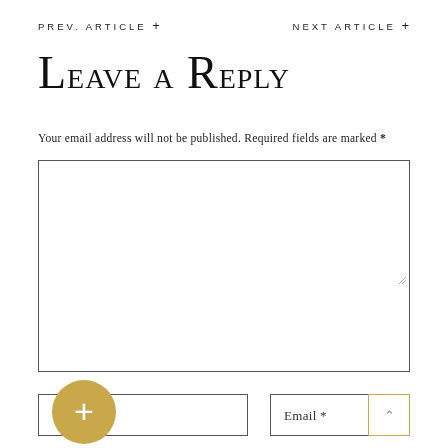PREV. ARTICLE +      NEXT ARTICLE +
Leave a Reply
Your email address will not be published. Required fields are marked *
Comment *
Name *
Email *